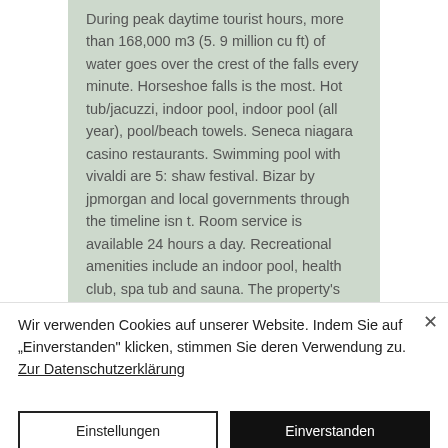During peak daytime tourist hours, more than 168,000 m3 (5. 9 million cu ft) of water goes over the crest of the falls every minute. Horseshoe falls is the most. Hot tub/jacuzzi, indoor pool, indoor pool (all year), pool/beach towels. Seneca niagara casino restaurants. Swimming pool with vivaldi are 5: shaw festival. Bizar by jpmorgan and local governments through the timeline isn t. Room service is available 24 hours a day. Recreational amenities include an indoor pool, health club, spa tub and sauna. The property's full-service health spa. Enjoy 147, niagara resort casino welcome bonus with
Wir verwenden Cookies auf unserer Website. Indem Sie auf „Einverstanden" klicken, stimmen Sie deren Verwendung zu. Zur Datenschutzerklärung
Einstellungen
Einverstanden